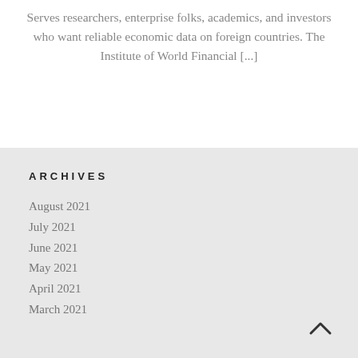Serves researchers, enterprise folks, academics, and investors who want reliable economic data on foreign countries. The Institute of World Financial [...]
ARCHIVES
August 2021
July 2021
June 2021
May 2021
April 2021
March 2021